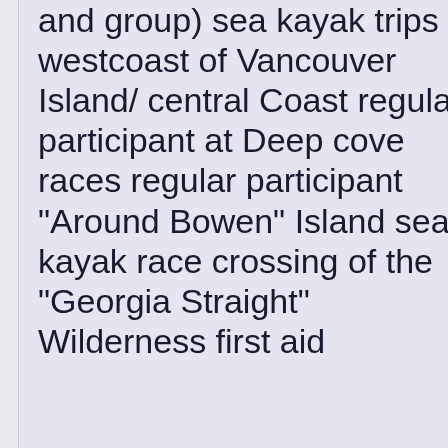and group) sea kayak trips westcoast of Vancouver Island/ central Coast regular participant at Deep cove races regular participant "Around Bowen" Island sea kayak race crossing of the "Georgia Straight" Wilderness first aid